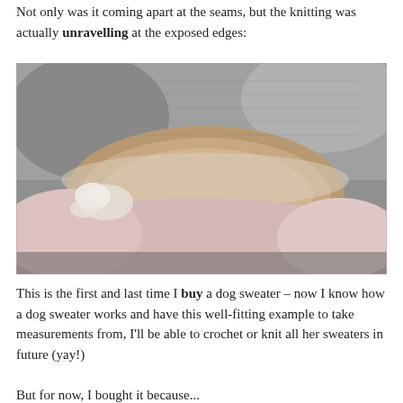Not only was it coming apart at the seams, but the knitting was actually unravelling at the exposed edges:
[Figure (photo): Close-up photograph of a knitted dog sweater showing the inner lining exposed through a large hole or gap, with grey outer knitting unravelling at the edges and a beige/pink inner layer visible.]
This is the first and last time I buy a dog sweater – now I know how a dog sweater works and have this well-fitting example to take measurements from, I'll be able to crochet or knit all her sweaters in future (yay!)
But for now, I bought it because...